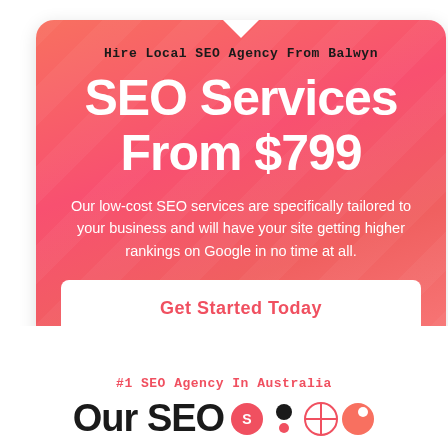[Figure (infographic): Red/coral gradient rounded card with diagonal stripe background, top notch arrow, containing SEO services promotional banner]
Hire Local SEO Agency From Balwyn
SEO Services From $799
Our low-cost SEO services are specifically tailored to your business and will have your site getting higher rankings on Google in no time at all.
Get Started Today
#1 SEO Agency In Australia
Our SEO